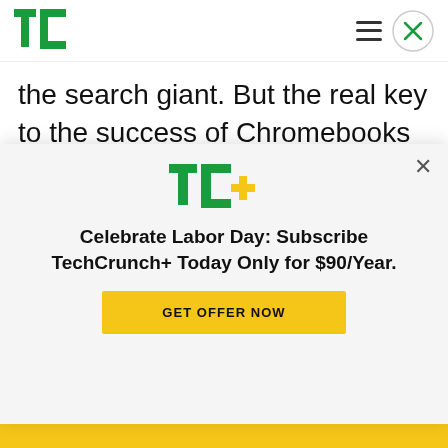TechCrunch
the search giant. But the real key to the success of Chromebooks in the K-12 tablet and notebook market is almost certainly cost – with bulk discounts, the browser-focused computers are likely far more affordable than either traditional Windows notebooks or iPads, and with the growing prevalence of web-based apps and tools, including core productivity software like Microsoft Office
[Figure (logo): TechCrunch+ logo in green and yellow]
Celebrate Labor Day: Subscribe TechCrunch+ Today Only for $90/Year.
GET OFFER NOW